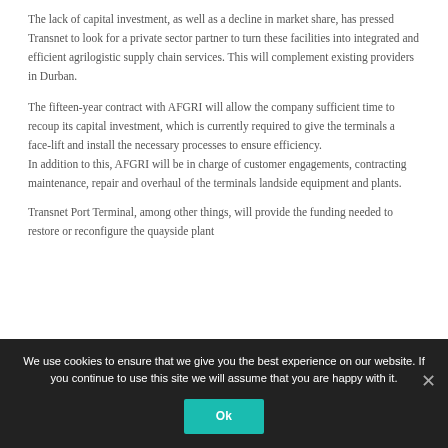The lack of capital investment, as well as a decline in market share, has pressed Transnet to look for a private sector partner to turn these facilities into integrated and efficient agrilogistic supply chain services. This will complement existing providers in Durban.
The fifteen-year contract with AFGRI will allow the company sufficient time to recoup its capital investment, which is currently required to give the terminals a face-lift and install the necessary processes to ensure efficiency. In addition to this, AFGRI will be in charge of customer engagements, contracting maintenance, repair and overhaul of the terminals landside equipment and plants.
Transnet Port Terminal, among other things, will provide the funding needed to restore or reconfigure the quayside plant
We use cookies to ensure that we give you the best experience on our website. If you continue to use this site we will assume that you are happy with it.